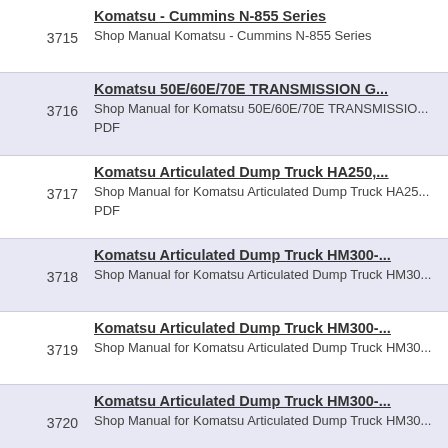3715 | Komatsu - Cummins N-855 Series | Shop Manual Komatsu - Cummins N-855 Series
3716 | Komatsu 50E/60E/70E TRANSMISSION G... | Shop Manual for Komatsu 50E/60E/70E TRANSMISSIO... PDF
3717 | Komatsu Articulated Dump Truck HA250,... | Shop Manual for Komatsu Articulated Dump Truck HA25... PDF
3718 | Komatsu Articulated Dump Truck HM300-... | Shop Manual for Komatsu Articulated Dump Truck HM30...
3719 | Komatsu Articulated Dump Truck HM300-... | Shop Manual for Komatsu Articulated Dump Truck HM30...
3720 | Komatsu Articulated Dump Truck HM300-... | Shop Manual for Komatsu Articulated Dump Truck HM30...
3721 | Komatsu Articulated Dump Truck HM300-... | Shop Manual for Komatsu Articulated Dump Truck HM30...
3722 | Komatsu Articulated Dump Truck HM350-... | Shop Manual and Operation and Maintenance Manual fo... Articulated Dump Truck HM350-1. PDF